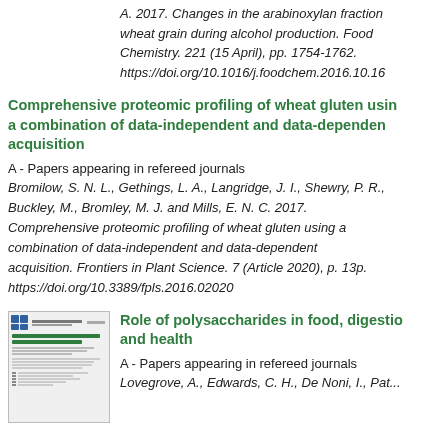A. 2017. Changes in the arabinoxylan fraction wheat grain during alcohol production. Food Chemistry. 221 (15 April), pp. 1754-1762. https://doi.org/10.1016/j.foodchem.2016.10.1...
Comprehensive proteomic profiling of wheat gluten using a combination of data-independent and data-dependent acquisition
A - Papers appearing in refereed journals
Bromilow, S. N. L., Gethings, L. A., Langridge, J. I., Shewry, P. R., Buckley, M., Bromley, M. J. and Mills, E. N. C. 2017. Comprehensive proteomic profiling of wheat gluten using a combination of data-independent and data-dependent acquisition. Frontiers in Plant Science. 7 (Article 2020), p. 13p. https://doi.org/10.3389/fpls.2016.02020
[Figure (other): Thumbnail image of a journal article page showing text and formatted content]
Role of polysaccharides in food, digestion and health
A - Papers appearing in refereed journals
Lovegrove, A., Edwards, C. H., De Noni, I., Pat...